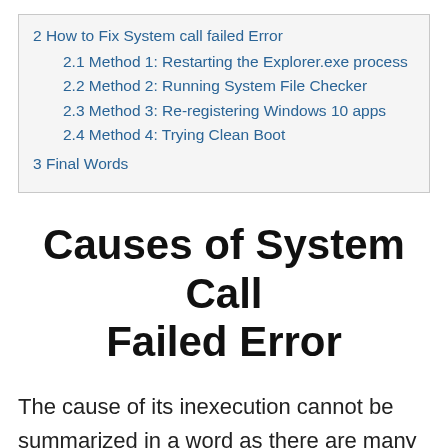2 How to Fix System call failed Error
2.1 Method 1: Restarting the Explorer.exe process
2.2 Method 2: Running System File Checker
2.3 Method 3: Re-registering Windows 10 apps
2.4 Method 4: Trying Clean Boot
3 Final Words
Causes of System Call Failed Error
The cause of its inexecution cannot be summarized in a word as there are many